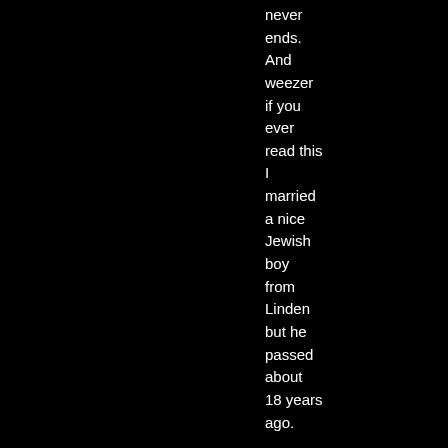never ends. And weezer if you ever read this I married a nice Jewish boy from Linden but he passed about 18 years ago.
Posted by: Vicky Markie | December 02, 2007 at 03:21